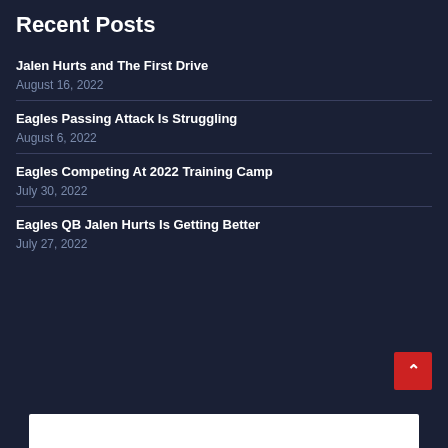Recent Posts
Jalen Hurts and The First Drive
August 16, 2022
Eagles Passing Attack Is Struggling
August 6, 2022
Eagles Competing At 2022 Training Camp
July 30, 2022
Eagles QB Jalen Hurts Is Getting Better
July 27, 2022